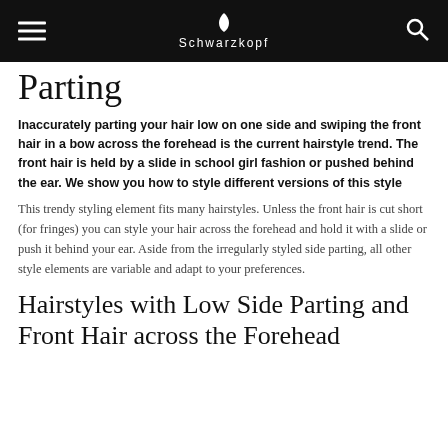Schwarzkopf
Parting
Inaccurately parting your hair low on one side and swiping the front hair in a bow across the forehead is the current hairstyle trend. The front hair is held by a slide in school girl fashion or pushed behind the ear. We show you how to style different versions of this style
This trendy styling element fits many hairstyles. Unless the front hair is cut short (for fringes) you can style your hair across the forehead and hold it with a slide or push it behind your ear. Aside from the irregularly styled side parting, all other style elements are variable and adapt to your preferences.
Hairstyles with Low Side Parting and Front Hair across the Forehead